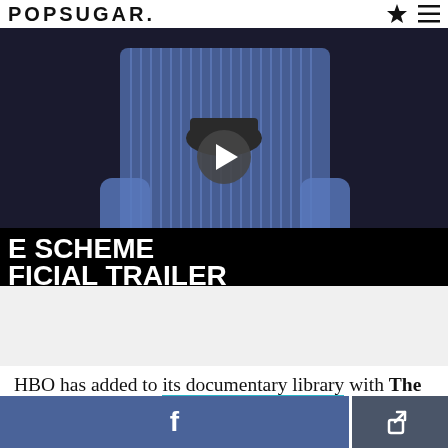POPSUGAR.
[Figure (screenshot): Video thumbnail showing a man in a blue striped shirt holding a dark hat, seated, with text overlay reading 'E SCHEME FICIAL TRAILER' and a play button in the center. Dark background at bottom.]
HBO has added to its documentary library with The Scheme, which follows one of the biggest